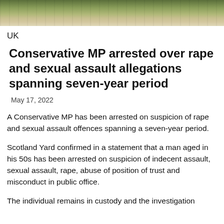[Figure (photo): Aerial or road-level photograph of a street or road scene, showing green foliage and road markings at the top of the page.]
UK
Conservative MP arrested over rape and sexual assault allegations spanning seven-year period
May 17, 2022
A Conservative MP has been arrested on suspicion of rape and sexual assault offences spanning a seven-year period.
Scotland Yard confirmed in a statement that a man aged in his 50s has been arrested on suspicion of indecent assault, sexual assault, rape, abuse of position of trust and misconduct in public office.
The individual remains in custody and the investigation